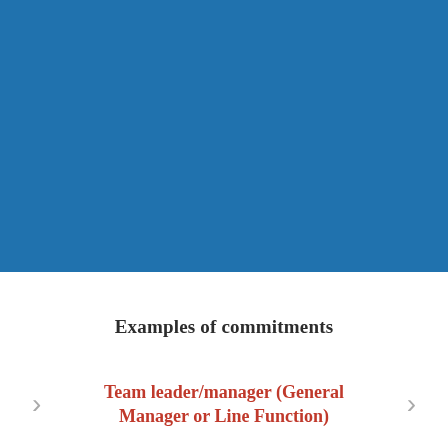[Figure (other): Solid blue rectangle covering the top portion of the page, textured blue background.]
Examples of commitments
Team leader/manager (General Manager or Line Function)